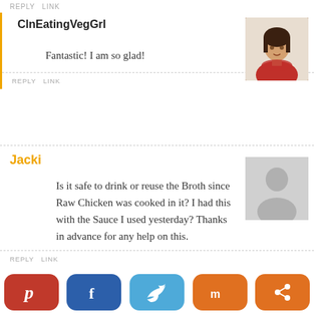REPLY   LINK
ClnEatingVegGrl
Fantastic! I am so glad!
REPLY   LINK
Jacki
Is it safe to drink or reuse the Broth since Raw Chicken was cooked in it? I had this with the Sauce I used yesterday? Thanks in advance for any help on this.
REPLY   LINK
ClnEatingVegGrl